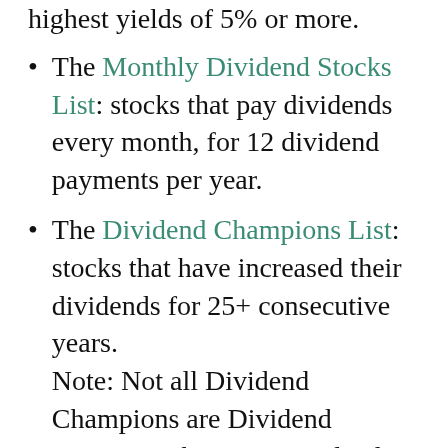highest yields of 5% or more.
The Monthly Dividend Stocks List: stocks that pay dividends every month, for 12 dividend payments per year.
The Dividend Champions List: stocks that have increased their dividends for 25+ consecutive years. Note: Not all Dividend Champions are Dividend Aristocrats because Dividend Aristocrats have additional requirements like being in The S&P 500.
The Dividend Contenders List: 10-24